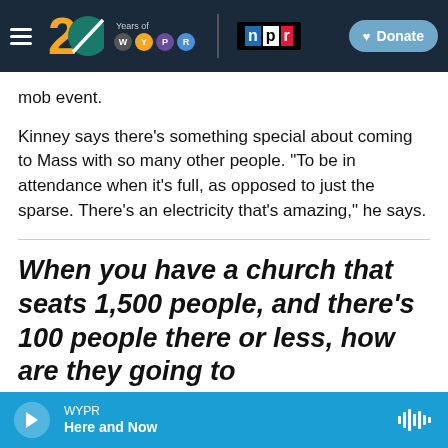WYPR 20 Years of WYPR | NPR | Donate
mob event.
Kinney says there's something special about coming to Mass with so many other people. "To be in attendance when it's full, as opposed to just the sparse. There's an electricity that's amazing," he says.
When you have a church that seats 1,500 people, and there's 100 people there or less, how are they going to
WYPR Here and Now